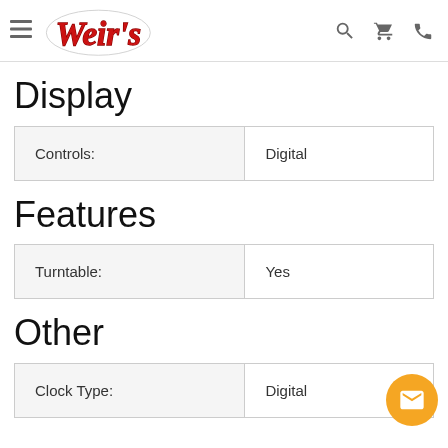Weir's (logo) — navigation header with search, cart, phone icons
Display
| Controls: | Digital |
Features
| Turntable: | Yes |
Other
| Clock Type: | Digital |